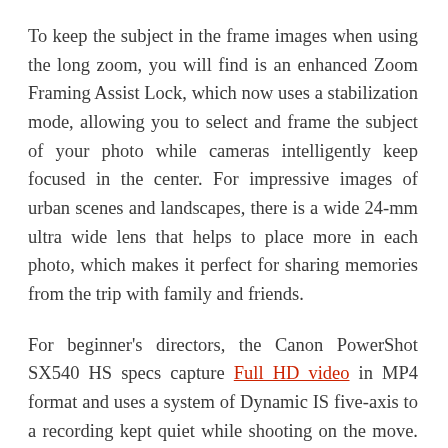To keep the subject in the frame images when using the long zoom, you will find is an enhanced Zoom Framing Assist Lock, which now uses a stabilization mode, allowing you to select and frame the subject of your photo while cameras intelligently keep focused in the center. For impressive images of urban scenes and landscapes, there is a wide 24-mm ultra wide lens that helps to place more in each photo, which makes it perfect for sharing memories from the trip with family and friends.
For beginner's directors, the Canon PowerShot SX540 HS specs capture Full HD video in MP4 format and uses a system of Dynamic IS five-axis to a recording kept quiet while shooting on the move. To